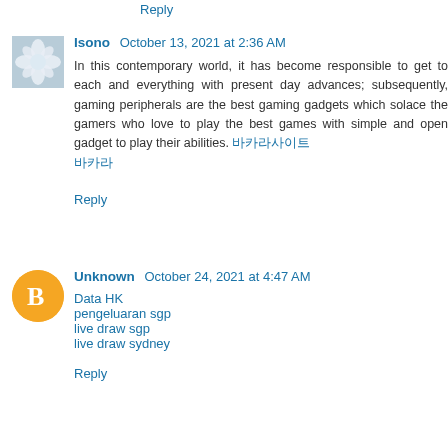Reply
Isono  October 13, 2021 at 2:36 AM
In this contemporary world, it has become responsible to get to each and everything with present day advances; subsequently, gaming peripherals are the best gaming gadgets which solace the gamers who love to play the best games with simple and open gadget to play their abilities. 바카라사이트 바카라
Reply
Unknown  October 24, 2021 at 4:47 AM
Data HK
pengeluaran sgp
live draw sgp
live draw sydney
Reply